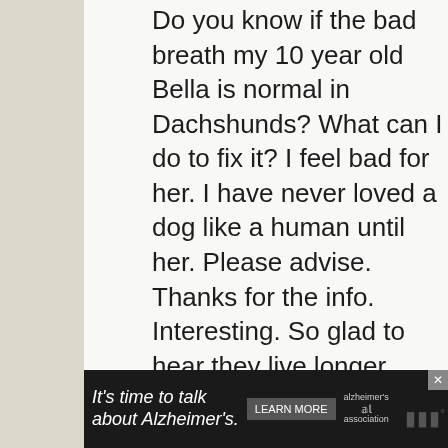Do you know if the bad breath my 10 year old Bella is normal in Dachshunds? What can I do to fix it? I feel bad for her. I have never loved a dog like a human until her. Please advise. Thanks for the info. Interesting. So glad to hear they live longer.
Reply
Jessica Rhae says
April 6, 2019 at 7:13 AM
[Figure (other): Advertisement banner: 'It's time to talk about Alzheimer's.' with a LEARN MORE button and Alzheimer's Association logo]